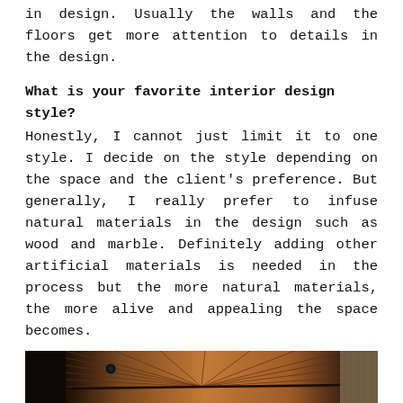in design. Usually the walls and the floors get more attention to details in the design.
What is your favorite interior design style?
Honestly, I cannot just limit it to one style. I decide on the style depending on the space and the client's preference. But generally, I really prefer to infuse natural materials in the design such as wood and marble. Definitely adding other artificial materials is needed in the process but the more natural materials, the more alive and appealing the space becomes.
[Figure (photo): Interior photo showing a corridor or room with warm wooden slat ceiling panels and ambient lighting, dark walls, with curtains visible on the right side.]